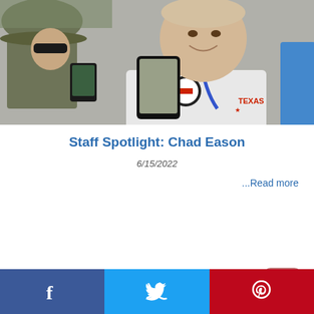[Figure (photo): A smiling young man wearing a white Texas polo shirt with a blue lanyard and a badge, being photographed by someone with a smartphone. Another person in a hat is visible on the left.]
Staff Spotlight: Chad Eason
6/15/2022
...Read more